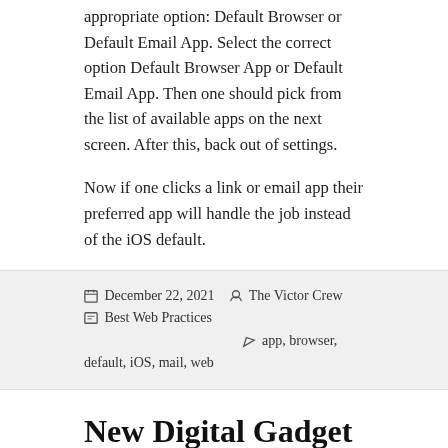appropriate option: Default Browser or Default Email App. Select the correct option Default Browser App or Default Email App. Then one should pick from the list of available apps on the next screen. After this, back out of settings.
Now if one clicks a link or email app their preferred app will handle the job instead of the iOS default.
December 22, 2021   The Victor Crew   Best Web Practices   app, browser, default, iOS, mail, web
New Digital Gadget
Google Lens seems to be a item to have. It is